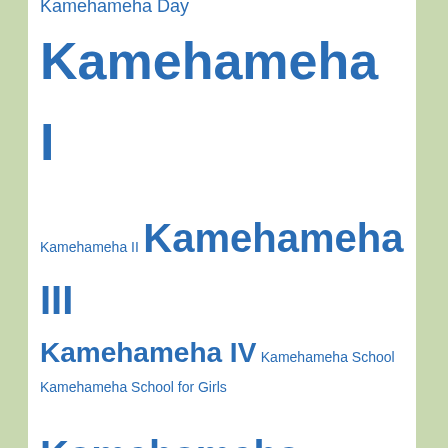Hawaiian flag Hawaiian HIStorical Society Hawaiian Patriotic League Hilo Independence Day Iolani Palace John Kulia Mokumaia John Leavitt Stevens John Owen Dominis John Papa Ii Jonah Kuhio Kalanianaole Joseph Mokuohai Poepoe Joseph Nawahi Kaahumanu Kaahumanu Society Kaiulani Kalakaua Kalaniopuu Kaleleonalani Kamehameha Day Kamehameha I Kamehameha II Kamehameha III Kamehameha IV Kamehameha School Kamehameha School for Girls Kamehameha Schools
[Figure (photo): MAC Cosmetics advertisement showing lipsticks with SHOP NOW button]
Advertisements